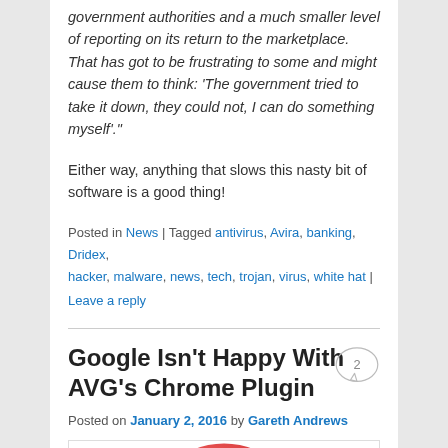government authorities and a much smaller level of reporting on its return to the marketplace. That has got to be frustrating to some and might cause them to think: 'The government tried to take it down, they could not, I can do something myself'."
Either way, anything that slows this nasty bit of software is a good thing!
Posted in News | Tagged antivirus, Avira, banking, Dridex, hacker, malware, news, tech, trojan, virus, white hat | Leave a reply
Google Isn't Happy With AVG's Chrome Plugin
Posted on January 2, 2016 by Gareth Andrews
[Figure (illustration): Red circular shape, partially visible at the bottom of the page, cropped]